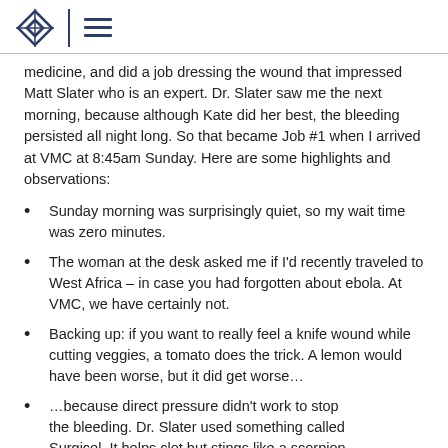[VMC logo with diamond icon and hamburger menu]
medicine, and did a job dressing the wound that impressed Matt Slater who is an expert. Dr. Slater saw me the next morning, because although Kate did her best, the bleeding persisted all night long. So that became Job #1 when I arrived at VMC at 8:45am Sunday. Here are some highlights and observations:
Sunday morning was surprisingly quiet, so my wait time was zero minutes.
The woman at the desk asked me if I'd recently traveled to West Africa – in case you had forgotten about ebola. At VMC, we have certainly not.
Backing up: if you want to really feel a knife wound while cutting veggies, a tomato does the trick. A lemon would have been worse, but it did get worse…
…because direct pressure didn't work to stop the bleeding. Dr. Slater used something called Surgicel. It helps clot but stings like a scorpion.
While I was sucking air through my teeth in pain, Matt put his hand on my shoulder. He didn't have to do that, but it helped a